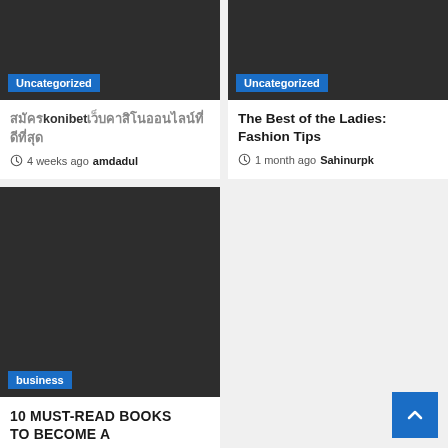Uncategorized
สมัครkonibet เว็บคาสิโนออนไลน์ ที่ดีที่สุด
4 weeks ago  amdadul
Uncategorized
The Best of the Ladies: Fashion Tips
1 month ago  Sahinurpk
business
10 MUST-READ BOOKS TO BECOME A